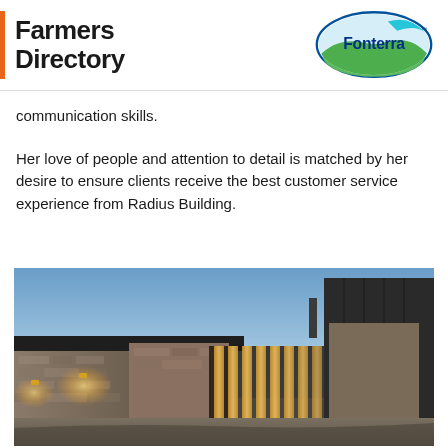Farmers Directory | Fonterra
communication skills.
Her love of people and attention to detail is matched by her desire to ensure clients receive the best customer service experience from Radius Building.
[Figure (photo): Exterior photo of a modern stone and dark metal clad building at dusk, with warm lights illuminating the entrance and driveway.]